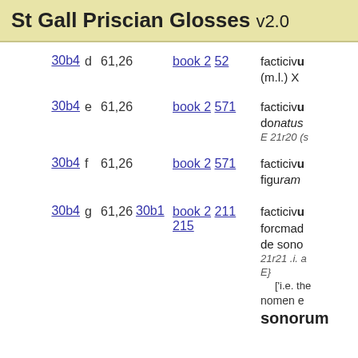St Gall Priscian Glosses v2.0
30b4 d 61,26 book 2 52 facticivum (m.l.) X
30b4 e 61,26 book 2 571 facticivum donatus E 21r20 (s
30b4 f 61,26 book 2 571 facticivum figuram
30b4 g 61,26 30b1 book 2 211 215 facticivum forcmad de sono 21r21 .i. a E} ['i.e. the nomen e sonorum